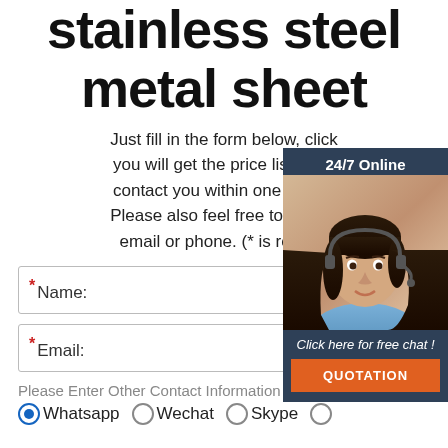stainless steel metal sheet
Just fill in the form below, click submit, you will get the price list, and we will contact you within one working day. Please also feel free to contact us via email or phone. (* is required)
[Figure (infographic): 24/7 Online chat widget with photo of customer service representative and 'Click here for free chat!' and QUOTATION button]
* Name:
* Email:
Please Enter Other Contact Information
Whatsapp  Wechat  Skype  (radio buttons)